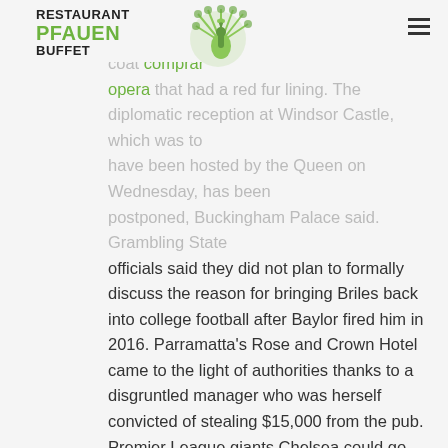RESTAURANT PFAUEN BUFFET
45, looked great in a pair of black jeans and jumper which she teamed with a camouflage coat comprar opera that had a red fur lining. The diplomatic reception at Windsor Castle, which was to have been hosted by the Queen on Wednesday, has been postponed, Buckingham Palace said. Grambling State officials said they did not plan to formally discuss the reason for bringing Briles back into college football after Baylor fired him in 2016. Parramatta's Rose and Crown Hotel came to the light of authorities thanks to a disgruntled manager who was herself convicted of stealing $15,000 from the pub. Premier League giants Chelsea could go bust if sanctions were imposed on owner Roman Abramovich and he claimed money owed to him, it was claimed tonight. Mel Brooks is not what you'd call a humble guy. For decades, rumours have circulated in showbusiness that his ego is in inverse proportion to his size, which is small (5ft 4in, to be precise). Researchers at the University of Southampton